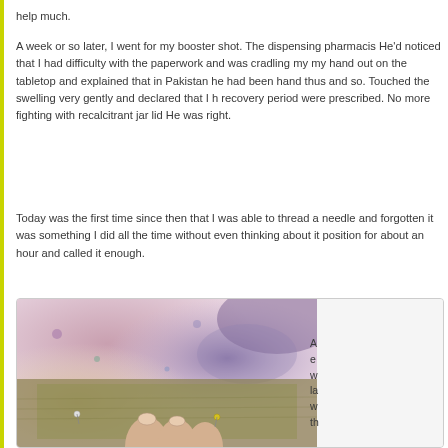help much.
A week or so later, I went for my booster shot. The dispensing pharmacis... He'd noticed that I had difficulty with the paperwork and was cradling my... my hand out on the tabletop and explained that in Pakistan he had been... hand thus and so. Touched the swelling very gently and declared that I h... recovery period were prescribed. No more fighting with recalcitrant jar lid... He was right.
Today was the first time since then that I was able to thread a needle and... forgotten it was something I did all the time without even thinking about it... position for about an hour and called it enough.
[Figure (photo): Close-up photo of a hand touching a textured fabric or felt material with pins in it, on a colorful painted surface.]
A... e... w... la... w... th...